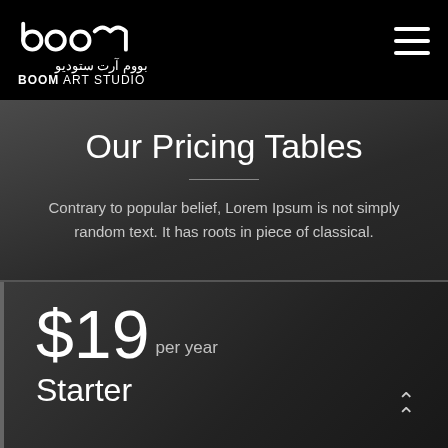[Figure (logo): Boom Art Studio logo with Arabic text 'بووم آرت ستوديو' and English text 'BOOM ART STUDIO' on black background]
Our Pricing Tables
Contrary to popular belief, Lorem Ipsum is not simply random text. It has roots in piece of classical.
$19 per year
Starter